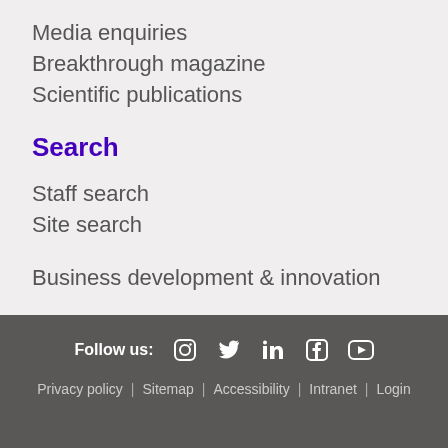Media enquiries
Breakthrough magazine
Scientific publications
Search
Staff search
Site search
Business development & innovation
Follow us: [instagram] [twitter] [linkedin] [facebook] [youtube] | Privacy policy | Sitemap | Accessibility | Intranet | Login